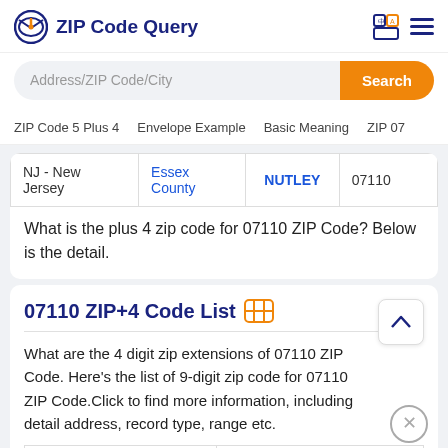ZIP Code Query
Address/ZIP Code/City
Search
ZIP Code 5 Plus 4   Envelope Example   Basic Meaning   ZIP 07
| State | County | City | ZIP |
| --- | --- | --- | --- |
| NJ - New Jersey | Essex County | NUTLEY | 07110 |
What is the plus 4 zip code for 07110 ZIP Code? Below is the detail.
07110 ZIP+4 Code List
What are the 4 digit zip extensions of 07110 ZIP Code. Here's the list of 9-digit zip code for 07110 ZIP Code.Click to find more information, including detail address, record type, range etc.
| ZIP Code 5 Plus 4 | Address |
| --- | --- |